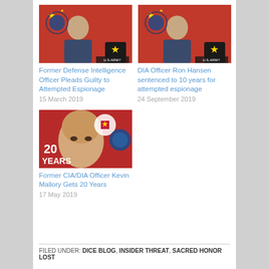[Figure (photo): Thumbnail image of man in front of Chinese flag and US Army intelligence logo. Related to Former Defense Intelligence Officer espionage case.]
Former Defense Intelligence Officer Pleads Guilty to Attempted Espionage
15 March 2019
[Figure (photo): Thumbnail image of man in front of Chinese flag and US Army intelligence logo. Related to DIA Officer Ron Hansen espionage case.]
DIA Officer Ron Hansen sentenced to 10 years for attempted espionage
24 September 2019
[Figure (photo): Thumbnail image showing a man's face with '20 YEARS' text overlay, CIA and DIA logos. Related to Kevin Mallory espionage case.]
Former CIA/DIA Officer Kevin Mallory Gets 20 Years
17 May 2019
FILED UNDER: DICE BLOG, INSIDER THREAT, SACRED HONOR LOST